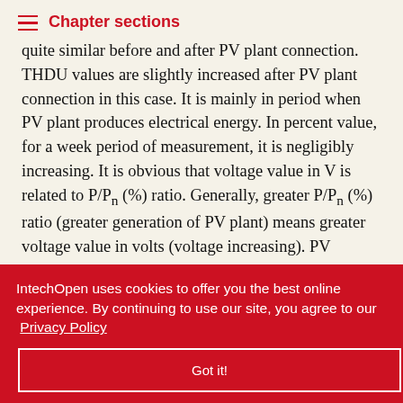Chapter sections
quite similar before and after PV plant connection. THDU values are slightly increased after PV plant connection in this case. It is mainly in period when PV plant produces electrical energy. In percent value, for a week period of measurement, it is negligibly increasing. It is obvious that voltage value in V is related to P/Pn (%) ratio. Generally, greater P/Pn (%) ratio (greater generation of PV plant) means greater voltage value in volts (voltage increasing). PV ... sing due to its ... ound that ... t connection ... crease. ... es not contribute to increasing of Plt at PCC.
IntechOpen uses cookies to offer you the best online experience. By continuing to use our site, you agree to our Privacy Policy
Got it!